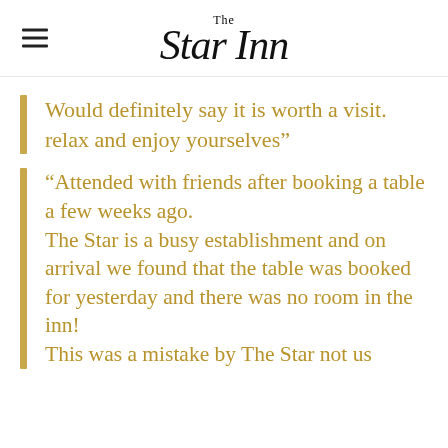The Star Inn
Would definitely say it is worth a visit. relax and enjoy yourselves”
“Attended with friends after booking a table a few weeks ago. The Star is a busy establishment and on arrival we found that the table was booked for yesterday and there was no room in the inn! This was a mistake by The Star not us